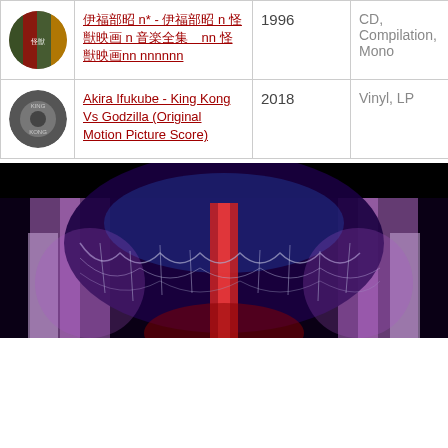|  | Title | Year | Format |
| --- | --- | --- | --- |
| [album art] | 伊福部昭 n* - 伊福部昭 n 怪獣映画 n 音楽全集　nn 怪獣映画nn nnnnnn | 1996 | CD, Compilation, Mono |
| [album art] | Akira Ifukube - King Kong Vs Godzilla (Original Motion Picture Score) | 2018 | Vinyl, LP |
[Figure (photo): Stage or theater scene with dramatic lighting — purple/pink curtains and decorative draping with blue and red spotlights on a dark background]